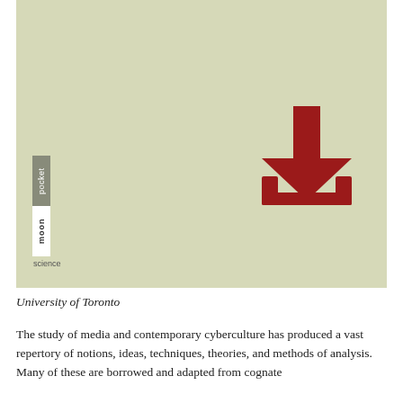[Figure (illustration): Book cover with sage/olive green background, a red download icon (arrow pointing down into a tray) in the center-right, and stacked vertical logos reading 'pocket' (grey background) and 'moon' (white background) with 'science' text below, on the left side.]
University of Toronto
The study of media and contemporary cyberculture has produced a vast repertory of notions, ideas, techniques, theories, and methods of analysis. Many of these are borrowed and adapted from cognate